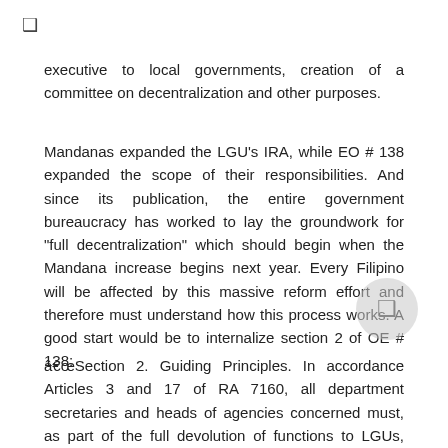❑
executive to local governments, creation of a committee on decentralization and other purposes.
Mandanas expanded the LGU's IRA, while EO # 138 expanded the scope of their responsibilities. And since its publication, the entire government bureaucracy has worked to lay the groundwork for "full decentralization" which should begin when the Mandana increase begins next year. Every Filipino will be affected by this massive reform effort and therefore must understand how this process works. A good start would be to internalize section 2 of OE # 138:
â€œSection 2. Guiding Principles. In accordance Articles 3 and 17 of RA 7160, all department secretaries and heads of agencies concerned must, as part of the full devolution of functions to LGUs, carry out a functional and organizational review of